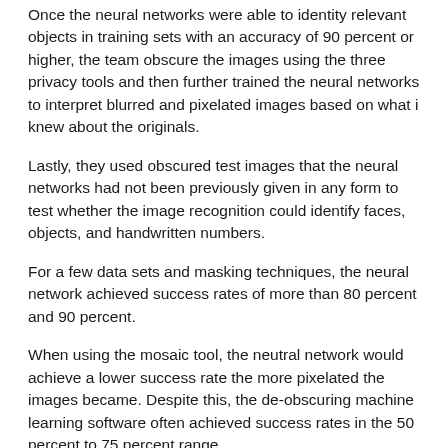Once the neural networks were able to identity relevant objects in training sets with an accuracy of 90 percent or higher, the team obscure the images using the three privacy tools and then further trained the neural networks to interpret blurred and pixelated images based on what i knew about the originals.
Lastly, they used obscured test images that the neural networks had not been previously given in any form to test whether the image recognition could identify faces, objects, and handwritten numbers.
For a few data sets and masking techniques, the neural network achieved success rates of more than 80 percent and 90 percent.
When using the mosaic tool, the neutral network would achieve a lower success rate the more pixelated the images became. Despite this, the de-obscuring machine learning software often achieved success rates in the 50 percent to 75 percent range.
Meanwhile, the lowest success rate was 17 percent on a data set of celebrity faces obscured with the P3 redaction system.
The research represents a significant blow to pixelation and